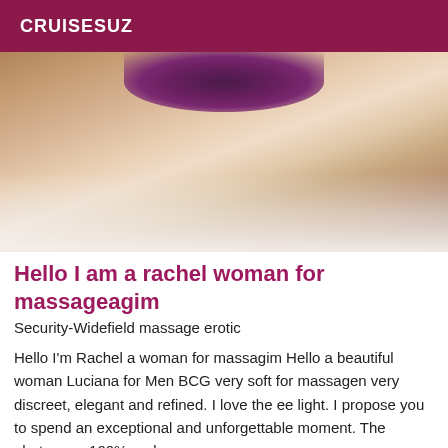CRUISESUZ
[Figure (photo): A woman lying on a bed with white sheets, wearing purple underwear, viewed from behind/side angle.]
Hello I am a rachel woman for massageagim
Security-Widefield massage erotic
Hello I'm Rachel a woman for massagim Hello a beautiful woman Luciana for Men BCG very soft for massagen very discreet, elegant and refined. I love the ee light. I propose you to spend an exceptional and unforgettable moment. The photos are 100% real...